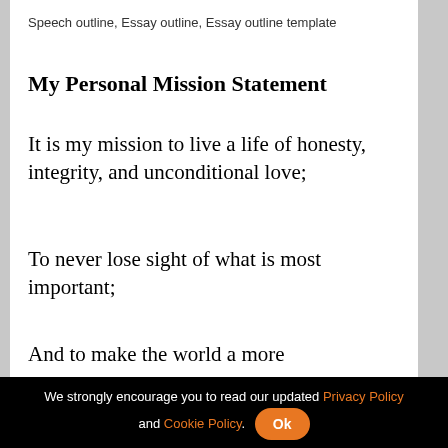Speech outline, Essay outline, Essay outline template
My Personal Mission Statement
It is my mission to live a life of honesty, integrity, and unconditional love;
To never lose sight of what is most important;
And to make the world a more
We strongly encourage you to read our updated Privacy Policy and Cookie Policy. Ok